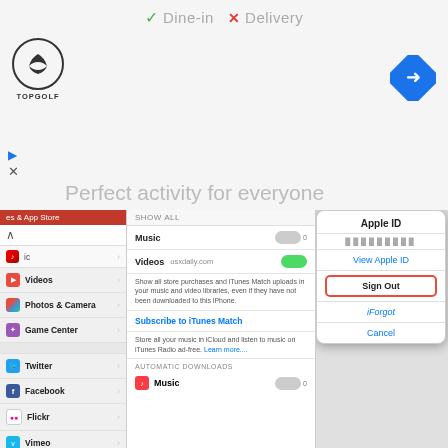[Figure (screenshot): Ad banner showing Topgolf logo with text 'Dine-in' and 'Delivery' and 'Perfect activity for everyone']
[Figure (screenshot): iOS Settings screenshot showing iTunes & App Store settings with Apple ID popup menu showing Sign Out button highlighted in red border. Left panel shows Videos, Photos & Camera, Game Center, Twitter, Facebook, Flickr, Vimeo. Middle panel shows Music toggle off, Videos toggle on with osxdaily.com, iTunes Match subscription, automatic downloads. Right panel shows Apple ID popup with View Apple ID, Sign Out (red bordered), iForgot, and Cancel options.]
This logs out of the existing Apple ID, leaving the Apple ID sign in screen blank. Now, you can choose either option:
Log in to another Apple account that already exists by entering the appropriate login details at